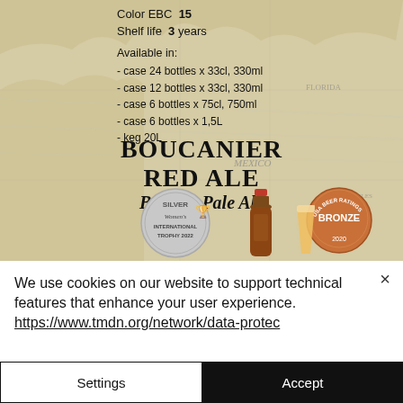[Figure (photo): Product page for Boucanier Red Ale Belgian Pale Ale on a vintage map background. Shows beer specifications, two award medals (Silver Women's International Trophy 2022, USA Beer Ratings Bronze 2020), and a bottle with glass.]
Color EBC 15
Shelf life 3 years
Available in:
- case 24 bottles x 33cl, 330ml
- case 12 bottles x 33cl, 330ml
- case 6 bottles x 75cl, 750ml
- case 6 bottles x 1,5L
- keg 20L
BOUCANIER RED ALE
Belgian Pale Ale
We use cookies on our website to support technical features that enhance your user experience. https://www.tmdn.org/network/data-protec
Settings
Accept